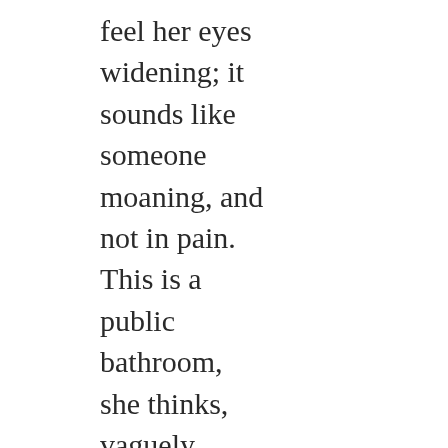feel her eyes widening; it sounds like someone moaning, and not in pain. This is a public bathroom, she thinks, vaguely scandalised for a moment, and the station is an old and